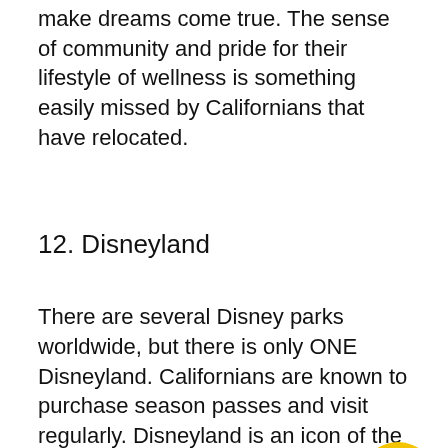make dreams come true. The sense of community and pride for their lifestyle of wellness is something easily missed by Californians that have relocated.
12. Disneyland
There are several Disney parks worldwide, but there is only ONE Disneyland. Californians are known to purchase season passes and visit regularly. Disneyland is an icon of the Golden State and Californians miss it dearly when they depart.